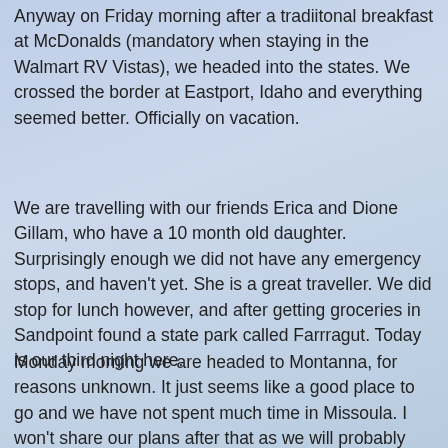Anyway on Friday morning after a tradiitonal breakfast at McDonalds (mandatory when staying in the Walmart RV Vistas), we headed into the states. We crossed the border at Eastport, Idaho and everything seemed better. Officially on vacation.
We are travelling with our friends Erica and Dione Gillam, who have a 10 month old daughter. Surprisingly enough we did not have any emergency stops, and haven't yet. She is a great traveller. We did stop for lunch however, and after getting groceries in Sandpoint found a state park called Farrragut. Today is our third night here.
Monday morning we are headed to Montanna, for reasons unknown. It just seems like a good place to go and we have not spent much time in Missoula. I won't share our plans after that as we will probably change our minds. ha ha The last 2 days have been spent just sight seeing and shopping. Glad to find some pretty girlie clothes for Emerson, and Blake will have to settle for some less fancy clothes. But Grandma is not done shopping yet! Already miss